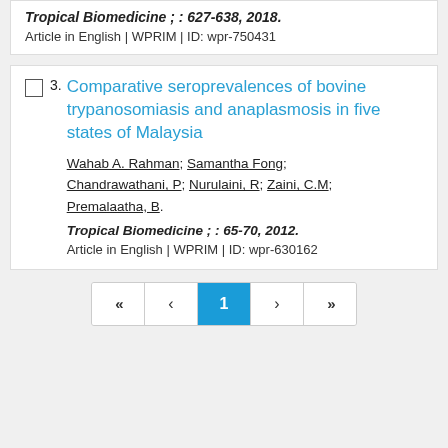Tropical Biomedicine ; : 627-638, 2018. Article in English | WPRIM | ID: wpr-750431
3. Comparative seroprevalences of bovine trypanosomiasis and anaplasmosis in five states of Malaysia. Wahab A. Rahman; Samantha Fong; Chandrawathani, P; Nurulaini, R; Zaini, C.M; Premalaatha, B. Tropical Biomedicine ; : 65-70, 2012. Article in English | WPRIM | ID: wpr-630162
« ‹ 1 › »